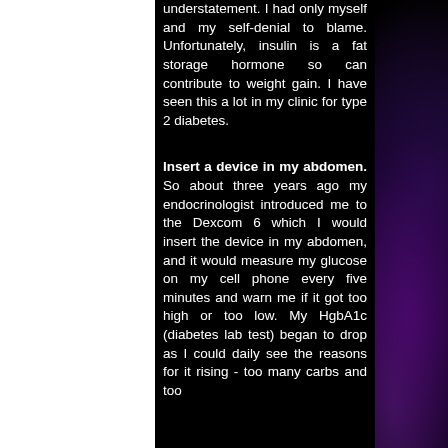understatement. I had only myself and my self-denial to blame. Unfortunately, insulin is a fat storage hormone so can contribute to weight gain. I have seen this a lot in my clinic for type 2 diabetes.
Insert a device in my abdomen. So about three years ago my endocrinologist introduced me to the Dexcom 6 which I would insert the device in my abdomen, and it would measure my glucose on my cell phone every five minutes and warn me if it got too high or too low. My HgbA1c (diabetes lab test) began to drop as I could daily see the reasons for it rising - too many carbs and too